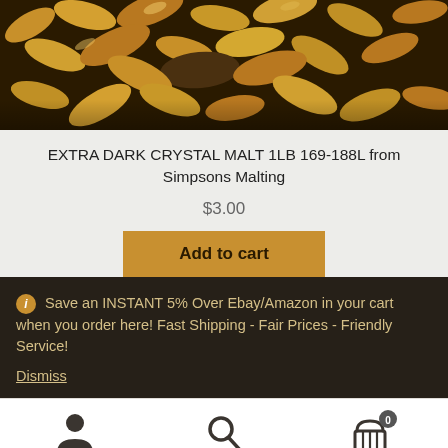[Figure (photo): Close-up photo of golden-brown malted barley grains]
EXTRA DARK CRYSTAL MALT 1LB 169-188L from Simpsons Malting
$3.00
Add to cart
ℹ Save an INSTANT 5% Over Ebay/Amazon in your cart when you order here! Fast Shipping - Fair Prices - Friendly Service!
Dismiss